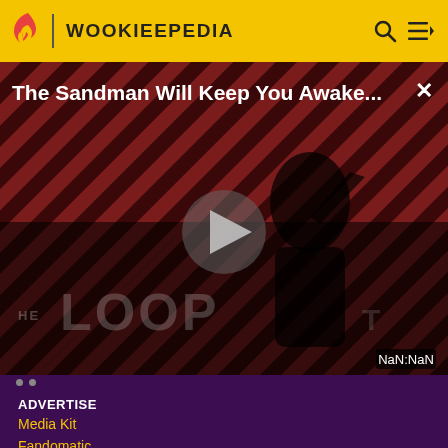WOOKIEEPEDIA
[Figure (screenshot): Video player showing 'The Sandman Will Keep You Awake...' with THE LOOP branding, diagonal red and black striped background, dark figure in black clothing, play button overlay, NaN:NaN timestamp, and close button X.]
ADVERTISE
Media Kit
Fandomatic